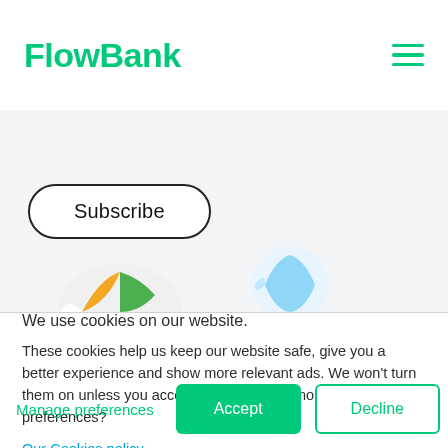FlowBank
[Figure (screenshot): FlowBank website hero section with a Subscribe button and a partially visible beach ball graphic at the bottom]
We use cookies on our website.
These cookies help us keep our website safe, give you a better experience and show more relevant ads. We won't turn them on unless you accept. Want to know more or adjust your preferences?
Our Cookies policy.
Manage preferences
Accept
Decline